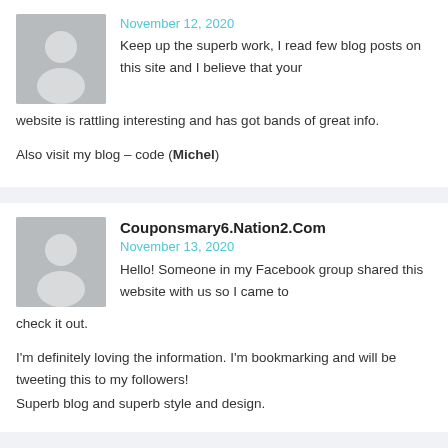[Figure (illustration): Gray avatar silhouette placeholder image for first commenter]
November 12, 2020
Keep up the superb work, I read few blog posts on this site and I believe that your website is rattling interesting and has got bands of great info.
Also visit my blog – code (Michel)
Couponsmary6.Nation2.Com
[Figure (illustration): Gray avatar silhouette placeholder image for second commenter]
November 13, 2020
Hello! Someone in my Facebook group shared this website with us so I came to check it out.
I'm definitely loving the information. I'm bookmarking and will be tweeting this to my followers! Superb blog and superb style and design.